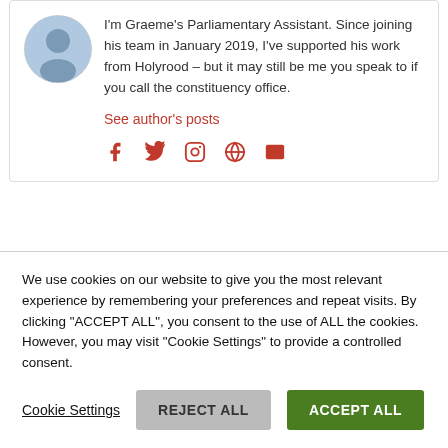[Figure (photo): Circular avatar photo of a person]
I'm Graeme's Parliamentary Assistant. Since joining his team in January 2019, I've supported his work from Holyrood – but it may still be me you speak to if you call the constituency office.
See author's posts
[Figure (infographic): Social media icons: Facebook, Twitter, Instagram, globe/website, email — all in red]
We use cookies on our website to give you the most relevant experience by remembering your preferences and repeat visits. By clicking "ACCEPT ALL", you consent to the use of ALL the cookies. However, you may visit "Cookie Settings" to provide a controlled consent.
Cookie Settings  REJECT ALL  ACCEPT ALL